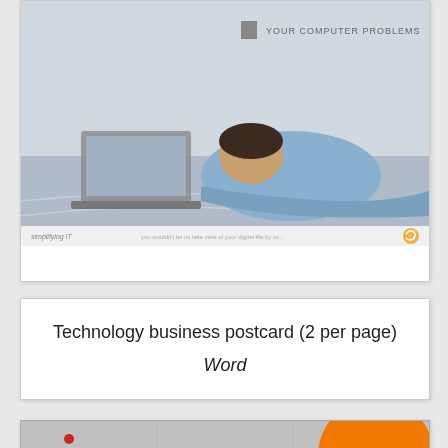[Figure (screenshot): Technology business postcard template preview showing a person slumped over a desk with a laptop, with 'YOUR COMPUTER PROBLEMS' text and a logo at the bottom. Below the image is a footer bar with 'simplifying IT' text.]
Technology business postcard (2 per page)
Word
[Figure (screenshot): Slide template preview with geometric shapes: a small red dot, a teal circle with white center, a dark red downward triangle, gray overlapping triangles, and a large orange circle with a white circle cutout. A purple banner at bottom reads 'Add a Slide Title'. Background is gray with grid lines.]